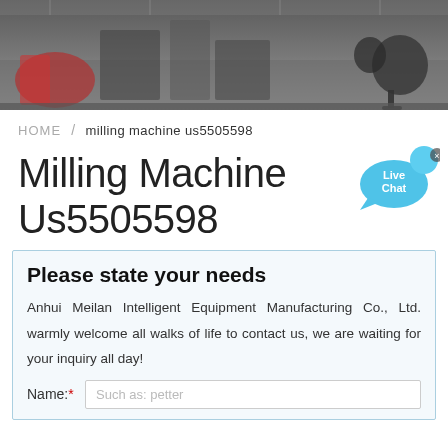[Figure (photo): Header photo of a manufacturing/milling machine facility interior, showing industrial equipment and machinery in a factory setting. Dark tones with some red equipment visible.]
HOME / milling machine us5505598
Milling Machine Us5505598
[Figure (illustration): Live Chat speech bubble icon in light blue with 'Live Chat' text and a small x close button]
Please state your needs
Anhui Meilan Intelligent Equipment Manufacturing Co., Ltd. warmly welcome all walks of life to contact us, we are waiting for your inquiry all day!
Name:* Such as: petter